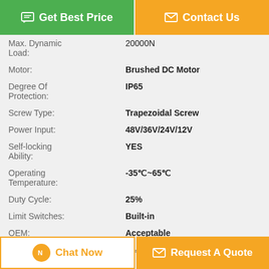[Figure (other): Get Best Price green button with message icon]
[Figure (other): Contact Us orange button with envelope icon]
| Property | Value |
| --- | --- |
| Max. Dynamic Load: | 20000N |
| Motor: | Brushed DC Motor |
| Degree Of Protection: | IP65 |
| Screw Type: | Trapezoidal Screw |
| Power Input: | 48V/36V/24V/12V |
| Self-locking Ability: | YES |
| Operating Temperature: | -35℃~65℃ |
| Duty Cycle: | 25% |
| Limit Switches: | Built-in |
| OEM: | Acceptable |
| High Light: | low noise linear actuator, best electric linear actuator |
[Figure (other): Chat Now button with orange circle icon]
[Figure (other): Request A Quote orange button with envelope icon]